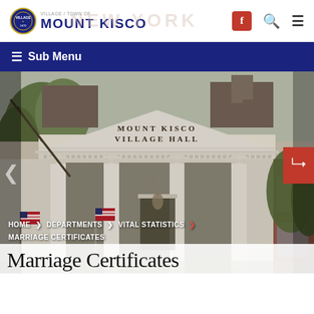[Figure (logo): Mount Kisco Village/Town seal logo with circular emblem and text 'MOUNT KISCO' in dark blue, with faint 'NEW YORK' watermark behind]
≡ Sub Menu
[Figure (photo): Photo of Mount Kisco Village Hall exterior — a white neoclassical building with Ionic columns, triangular pediment with text 'MOUNT KISCO VILLAGE HALL', American flags flanking entrance, surrounded by trees]
HOME › DEPARTMENTS › VITAL STATISTICS › MARRIAGE CERTIFICATES
Marriage Certificates